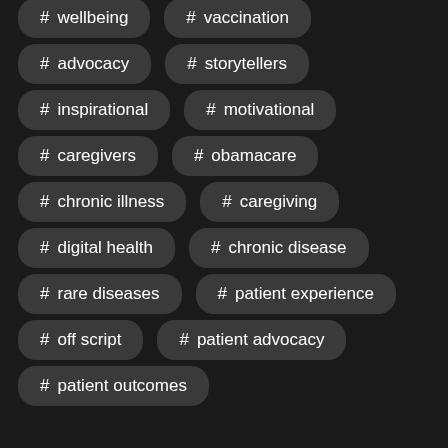# wellbeing
# vaccination
# advocacy
# storytellers
# inspirational
# motivational
# caregivers
# obamacare
# chronic illness
# caregiving
# digital health
# chronic disease
# rare diseases
# patient experience
# off script
# patient advocacy
# patient outcomes